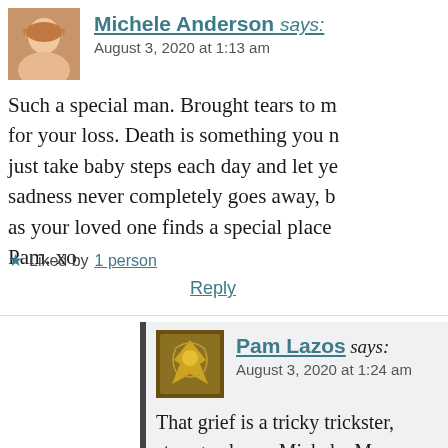Michele Anderson says:
August 3, 2020 at 1:13 am
Such a special man. Brought tears to m for your loss. Death is something you just take baby steps each day and let y sadness never completely goes away, as your loved one finds a special place Pam. xo
★ Liked by 1 person
Reply
Pam Lazos says:
August 3, 2020 at 1:24 am
That grief is a tricky trickster, strange places, Michele. My ov ago and I still get caught unaw